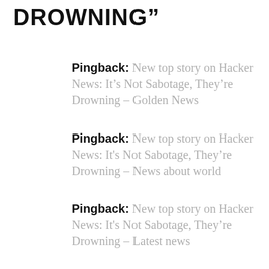DROWNING”
Pingback: New top story on Hacker News: It’s Not Sabotage, They’re Drowning – Golden News
Pingback: New top story on Hacker News: It's Not Sabotage, They’re Drowning – News about world
Pingback: New top story on Hacker News: It's Not Sabotage, They’re Drowning – Latest news
Pingback: New top story on Hacker News: It's Not Sabotage, They’re